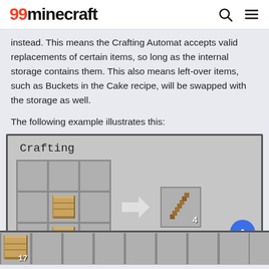99minecraft
instead. This means the Crafting Automat accepts valid replacements of certain items, so long as the internal storage contains them. This also means left-over items, such as Buckets in the Cake recipe, will be swapped with the storage as well.
The following example illustrates this:
[Figure (screenshot): Minecraft crafting UI screenshot showing a 3x3 crafting grid with wooden planks in the middle and bottom-center slots, an arrow pointing right, and a result slot showing 4 sticks. Below is an inventory bar with a wooden plank stack showing count 17.]